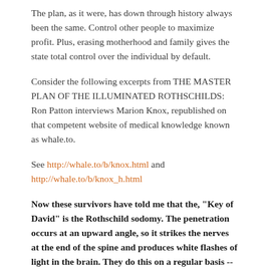The plan, as it were, has down through history always been the same. Control other people to maximize profit. Plus, erasing motherhood and family gives the state total control over the individual by default.
Consider the following excerpts from THE MASTER PLAN OF THE ILLUMINATED ROTHSCHILDS: Ron Patton interviews Marion Knox, republished on that competent website of medical knowledge known as whale.to.
See http://whale.to/b/knox.html and http://whale.to/b/knox_h.html
Now these survivors have told me that the, "Key of David" is the Rothschild sodomy. The penetration occurs at an upward angle, so it strikes the nerves at the end of the spine and produces white flashes of light in the brain. They do this on a regular basis -- sort of maintenance program to keep everything intact. As a side note, there are Catholic black